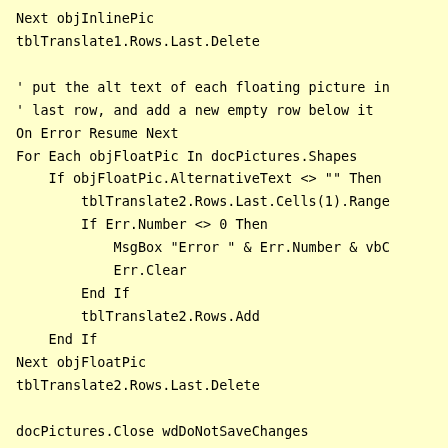Next objInlinePic
tblTranslate1.Rows.Last.Delete

' put the alt text of each floating picture in
' last row, and add a new empty row below it
On Error Resume Next
For Each objFloatPic In docPictures.Shapes
    If objFloatPic.AlternativeText <> "" Then
        tblTranslate2.Rows.Last.Cells(1).Range
        If Err.Number <> 0 Then
            MsgBox "Error " & Err.Number & vbC
            Err.Clear
        End If
        tblTranslate2.Rows.Add
    End If
Next objFloatPic
tblTranslate2.Rows.Last.Delete

docPictures.Close wdDoNotSaveChanges